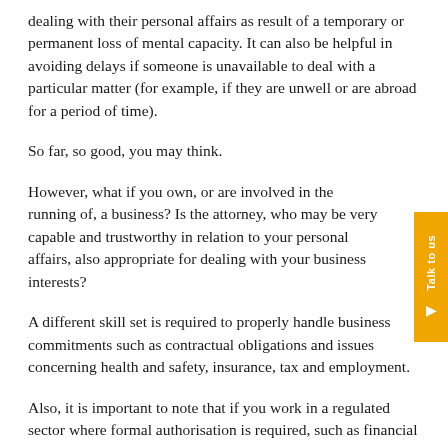dealing with their personal affairs as result of a temporary or permanent loss of mental capacity. It can also be helpful in avoiding delays if someone is unavailable to deal with a particular matter (for example, if they are unwell or are abroad for a period of time).
So far, so good, you may think.
However, what if you own, or are involved in the running of, a business? Is the attorney, who may be very capable and trustworthy in relation to your personal affairs, also appropriate for dealing with your business interests?
A different skill set is required to properly handle business commitments such as contractual obligations and issues concerning health and safety, insurance, tax and employment.
Also, it is important to note that if you work in a regulated sector where formal authorisation is required, such as financial services, veterinary or law, your attorney will be